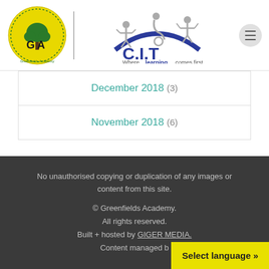[Figure (logo): Greenfields Academy logo - circular yellow badge with tree and GA letters]
[Figure (logo): C.I.T logo with three figures on a blue arc, tagline: Where learning comes first]
December 2018 (3)
November 2018 (6)
No unauthorised copying or duplication of any images or content from this site.
© Greenfields Academy.
All rights reserved.
Built + hosted by GIGER MEDIA.
Content managed b[y]
Select language »